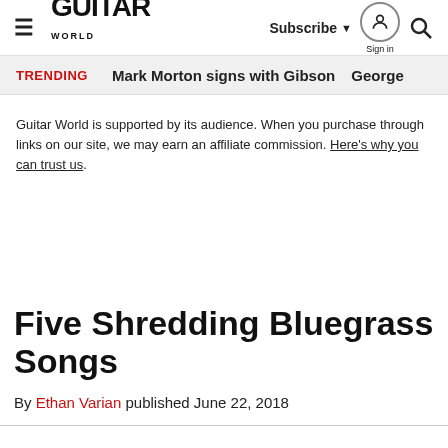Guitar World — Subscribe | Sign in | Search
TRENDING   Mark Morton signs with Gibson   George
Guitar World is supported by its audience. When you purchase through links on our site, we may earn an affiliate commission. Here's why you can trust us.
Five Shredding Bluegrass Songs
By Ethan Varian published June 22, 2018